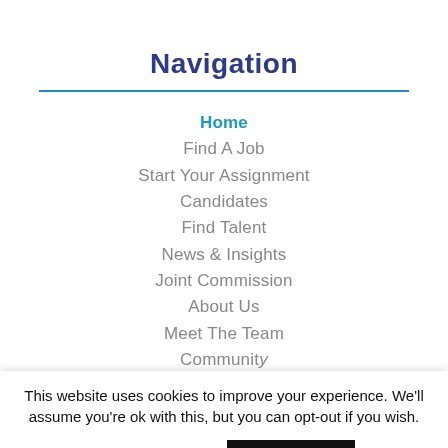Navigation
Home
Find A Job
Start Your Assignment
Candidates
Find Talent
News & Insights
Joint Commission
About Us
Meet The Team
Community
This website uses cookies to improve your experience. We'll assume you're ok with this, but you can opt-out if you wish.
Cookie settings
ACCEPT